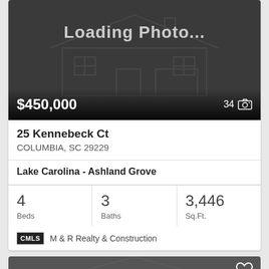[Figure (photo): Loading photo placeholder with house outline on dark background]
$450,000
34 [camera icon]
25 Kennebeck Ct
COLUMBIA, SC 29229
Lake Carolina - Ashland Grove
4 Beds
3 Baths
3,446 Sq.Ft.
CMLS  M & R Realty & Construction
[Figure (photo): Second listing card partially visible with dark background and house outline]